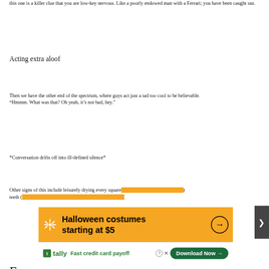this one is a killer clue that you are low-key nervous. Like a poorly endowed man with a Ferrari; you have been caught out.
Acting extra aloof
Then we have the other end of the spectrum, where guys act just a tad too cool to be believable. “Hmmm. What was that? Oh yeah, it’s not bad, hey.”
*Conversation drifts off into ill-defined silence*
Other signs of this include leisurely drying every square [inch of their body, brushing their teeth (…
[Figure (infographic): Walmart advertisement banner: orange background with Walmart spark logo, text 'Halloween costumes starting at $5' with arrow button]
[Figure (infographic): Tally app advertisement: white background with Tally logo, text 'Fast credit card payoff' with green Download Now button]
Exce…